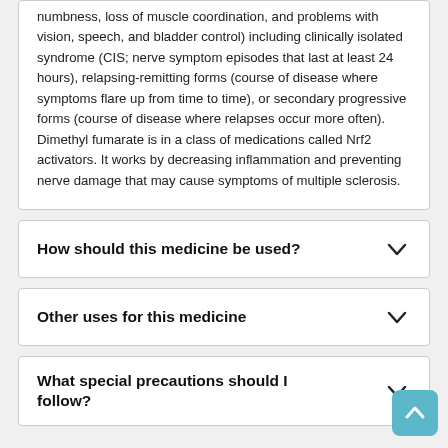numbness, loss of muscle coordination, and problems with vision, speech, and bladder control) including clinically isolated syndrome (CIS; nerve symptom episodes that last at least 24 hours), relapsing-remitting forms (course of disease where symptoms flare up from time to time), or secondary progressive forms (course of disease where relapses occur more often). Dimethyl fumarate is in a class of medications called Nrf2 activators. It works by decreasing inflammation and preventing nerve damage that may cause symptoms of multiple sclerosis.
How should this medicine be used?
Other uses for this medicine
What special precautions should I follow?